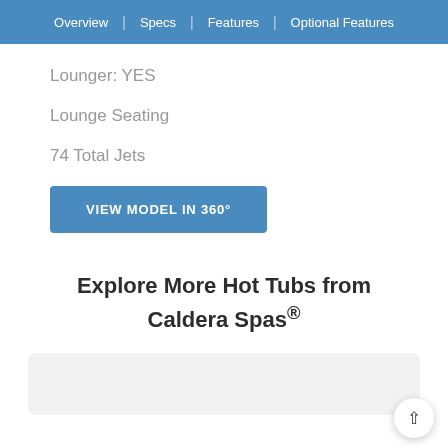Overview | Specs | Features | Optional Features
Lounger: YES
Lounge Seating
74 Total Jets
VIEW MODEL IN 360°
Explore More Hot Tubs from Caldera Spas®